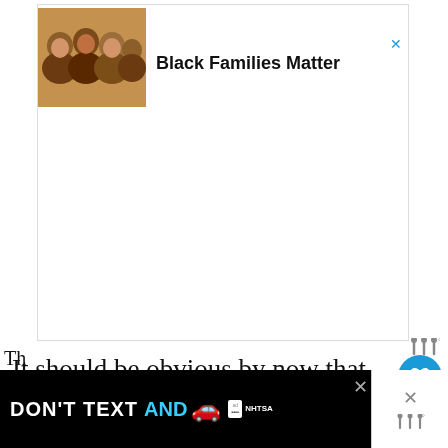[Figure (photo): Advertisement banner: photo of Black family smiling together, with text 'Black Families Matter' and a close (X) button]
It should be obvious by now that some plants just don't get along.
[Figure (screenshot): Bottom advertisement banner: 'DON'T TEXT AND' with car emoji, ad badge, NHTSA logo, close button, and share icon]